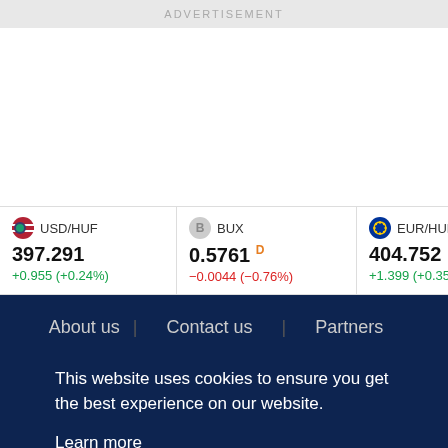ADVERTISEMENT
| Symbol | Value | Change |
| --- | --- | --- |
| USD/HUF | 397.291 | +0.955 (+0.24%) |
| BUX | 0.5761 D | -0.0044 (-0.76%) |
| EUR/HUF | 404.752 | +1.399 (+0.35%) |
| TV | 3.80 | -0.12 |
About us   Contact us   Partners
This website uses cookies to ensure you get the best experience on our website.
Learn more
Decline
Allow cookies